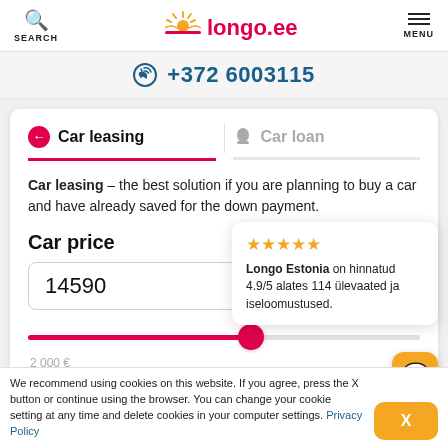SEARCH | longo.ee | MENU
+372 6003115
Car leasing | Car loan
Car leasing – the best solution if you are planning to buy a car and have already saved for the down payment.
Car price
14590
2 000 € ... 25...
Longo Estonia on hinnatud 4.9/5 alates 114 ülevaated ja iseloomustused.
We recommend using cookies on this website. If you agree, press the X button or continue using the browser. You can change your cookie setting at any time and delete cookies in your computer settings. Privacy Policy